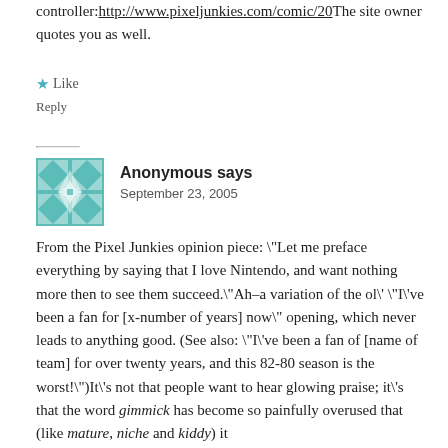controller:http://www.pixeljunkies.com/comic/20The site owner quotes you as well.
★ Like
Reply
[Figure (illustration): Teal/turquoise decorative avatar with geometric quilt pattern, white diamond and star shapes on teal background]
Anonymous says
September 23, 2005
From the Pixel Junkies opinion piece: \"Let me preface everything by saying that I love Nintendo, and want nothing more then to see them succeed.\"Ah–a variation of the ol\' \"I\'ve been a fan for [x-number of years] now\" opening, which never leads to anything good. (See also: \"I\'ve been a fan of [name of team] for over twenty years, and this 82-80 season is the worst!\")It\'s not that people want to hear glowing praise; it\'s that the word gimmick has become so painfully overused that (like mature, niche and kiddy) it